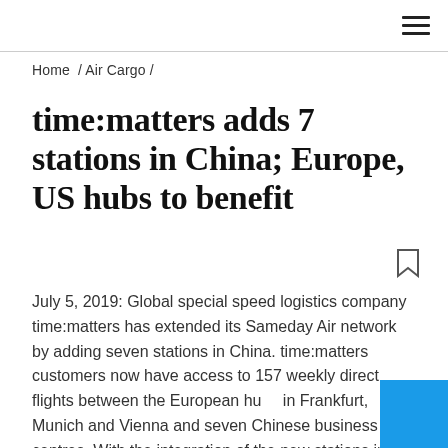≡ (hamburger menu icon)
Home / Air Cargo /
time:matters adds 7 stations in China; Europe, US hubs to benefit
July 5, 2019: Global special speed logistics company time:matters has extended its Sameday Air network by adding seven stations in China. time:matters customers now have access to 157 weekly direct flights between the European hubs in Frankfurt, Munich and Vienna and seven Chinese business centres. With the integration of the new stations in China into […]